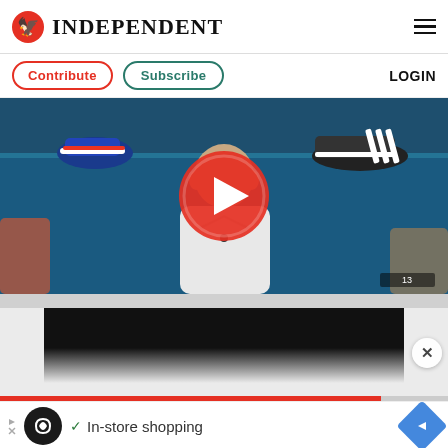INDEPENDENT
Contribute   Subscribe   LOGIN
[Figure (screenshot): Video thumbnail showing a person in a white shirt seated against a blue background with Adidas football boots on a shelf. A large red play button circle is overlaid in the center.]
[Figure (screenshot): Black advertisement panel below video with gradient fade at bottom and a close (X) button on the right side.]
In-store shopping